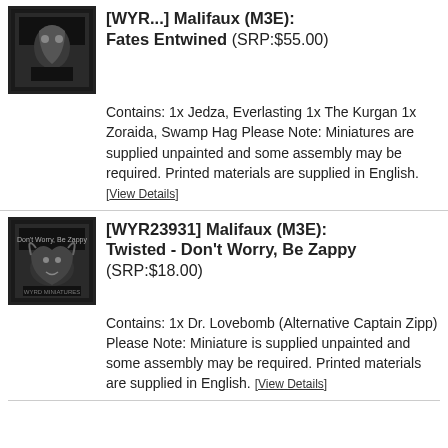[WYR...] Malifaux (M3E): Fates Entwined (SRP:$55.00)
Contains: 1x Jedza, Everlasting 1x The Kurgan 1x Zoraida, Swamp Hag Please Note: Miniatures are supplied unpainted and some assembly may be required. Printed materials are supplied in English. [View Details]
[WYR23931] Malifaux (M3E): Twisted - Don't Worry, Be Zappy (SRP:$18.00)
Contains: 1x Dr. Lovebomb (Alternative Captain Zipp) Please Note: Miniature is supplied unpainted and some assembly may be required. Printed materials are supplied in English. [View Details]